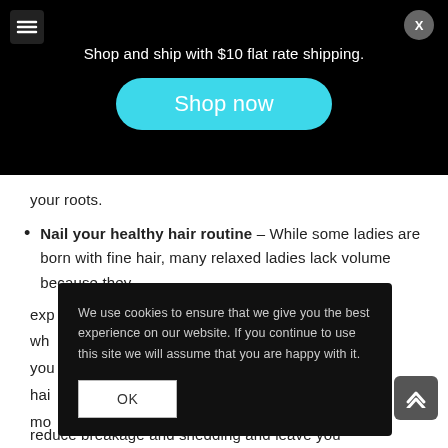Shop and ship with $10 flat rate shipping.
[Figure (screenshot): Shop now button - cyan/teal rounded pill button]
your roots.
Nail your healthy hair routine – While some ladies are born with fine hair, many relaxed ladies lack volume because they exp... wh... you... hai... mo...
We use cookies to ensure that we give you the best experience on our website. If you continue to use this site we will assume that you are happy with it.
OK
reduce breakage and shedding and leave you